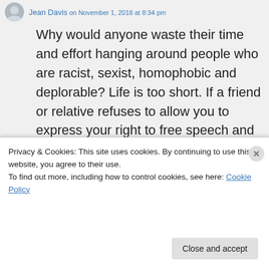Jean Davis on November 1, 2018 at 8:34 pm
Why would anyone waste their time and effort hanging around people who are racist, sexist, homophobic and deplorable? Life is too short. If a friend or relative refuses to allow you to express your right to free speech and just attacks you – cut them out of your life. These people have been brainwashed – just like the Germans were with Hitler. Speaking of which – the Nazi Party AND the KKK have both endorsed
Privacy & Cookies: This site uses cookies. By continuing to use this website, you agree to their use.
To find out more, including how to control cookies, see here: Cookie Policy
Close and accept